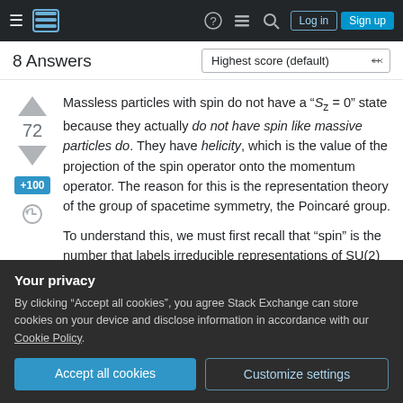Stack Exchange navigation bar with hamburger menu, logo, help, feedback, search, Log in, Sign up
8 Answers
Massless particles with spin do not have a "S_z = 0" state because they actually do not have spin like massive particles do. They have helicity, which is the value of the projection of the spin operator onto the momentum operator. The reason for this is the representation theory of the group of spacetime symmetry, the Poincaré group.
To understand this, we must first recall that "spin" is the number that labels irreducible representations of SU(2)
Your privacy
By clicking "Accept all cookies", you agree Stack Exchange can store cookies on your device and disclose information in accordance with our Cookie Policy.
Accept all cookies
Customize settings